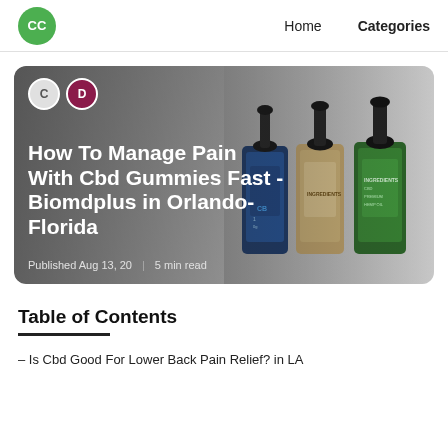CC  Home  Categories
[Figure (photo): Hero card with CBD oil dropper bottles on gradient background, two author avatars (C and D), article title overlaid in white text, and published date/read time metadata.]
How To Manage Pain With Cbd Gummies Fast - Biomdplus in Orlando-Florida
Published Aug 13, 20  |  5 min read
Table of Contents
– Is Cbd Good For Lower Back Pain Relief? in LA